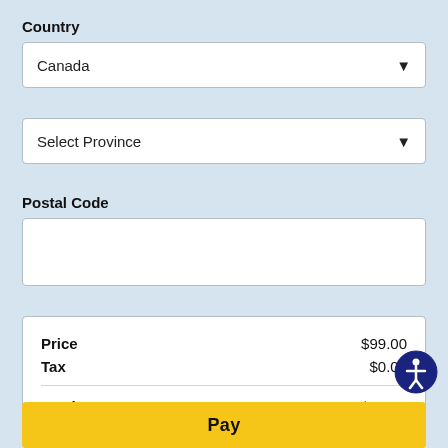Country
[Figure (screenshot): Dropdown select box showing 'Canada' with a down arrow indicator]
[Figure (screenshot): Dropdown select box showing 'Select Province' with a down arrow indicator]
Postal Code
[Figure (screenshot): Empty text input box for postal code entry]
| Price | $99.00 |
| Tax | $0.00 |
| Total | CAD $99.00 |
[Figure (screenshot): Yellow 'Pay' button at bottom of page]
[Figure (screenshot): Accessibility icon button (person with circle) in bottom right corner]